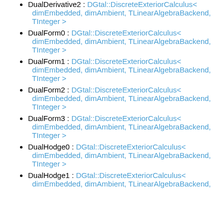DualDerivative2 : DGtal::DiscreteExteriorCalculus< dimEmbedded, dimAmbient, TLinearAlgebraBackend, TInteger >
DualForm0 : DGtal::DiscreteExteriorCalculus< dimEmbedded, dimAmbient, TLinearAlgebraBackend, TInteger >
DualForm1 : DGtal::DiscreteExteriorCalculus< dimEmbedded, dimAmbient, TLinearAlgebraBackend, TInteger >
DualForm2 : DGtal::DiscreteExteriorCalculus< dimEmbedded, dimAmbient, TLinearAlgebraBackend, TInteger >
DualForm3 : DGtal::DiscreteExteriorCalculus< dimEmbedded, dimAmbient, TLinearAlgebraBackend, TInteger >
DualHodge0 : DGtal::DiscreteExteriorCalculus< dimEmbedded, dimAmbient, TLinearAlgebraBackend, TInteger >
DualHodge1 : DGtal::DiscreteExteriorCalculus< dimEmbedded, dimAmbient, TLinearAlgebraBackend,